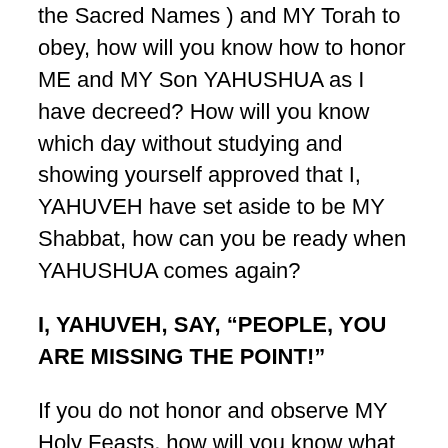the Sacred Names ) and MY Torah to obey, how will you know how to honor ME and MY Son YAHUSHUA as I have decreed? How will you know which day without studying and showing yourself approved that I, YAHUVEH have set aside to be MY Shabbat, how can you be ready when YAHUSHUA comes again?
I, YAHUVEH, SAY, “PEOPLE, YOU ARE MISSING THE POINT!”
If you do not honor and observe MY Holy Feasts, how will you know what Rosh Hashanah is and when it is? Then, when you are left behind you will ask, “Why?” So I speak forth out of MY Ring Maiden and tell you ahead of time that I, YAHUVEH,